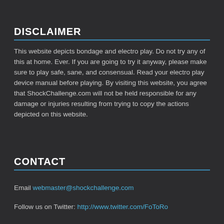DISCLAIMER
This website depicts bondage and electro play. Do not try any of this at home. Ever. If you are going to try it anyway, please make sure to play safe, sane, and consensual. Read your electro play device manual before playing. By visiting this website, you agree that ShockChallenge.com will not be held responsible for any damage or injuries resulting from trying to copy the actions depicted on this website.
CONTACT
Email webmaster@shockchallenge.com
Follow us on Twitter: http://www.twitter.com/FoToRo